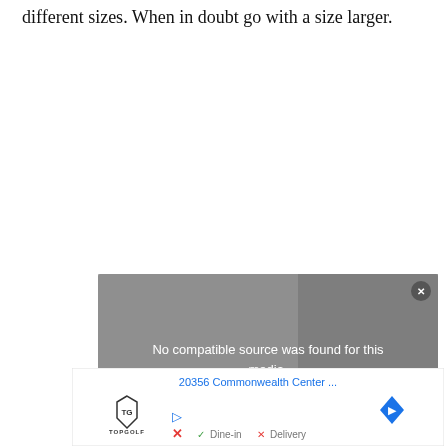different sizes. When in doubt go with a size larger.
[Figure (screenshot): Video player overlay showing 'No compatible source was found for this media.' with a close button, overlaid on a blurred video thumbnail background.]
[Figure (screenshot): Advertisement block showing '20356 Commonwealth Center ...' address link, Topgolf logo, navigation arrow icon, play icon, X icon, and 'Dine-in' with checkmark and 'Delivery' with X mark.]